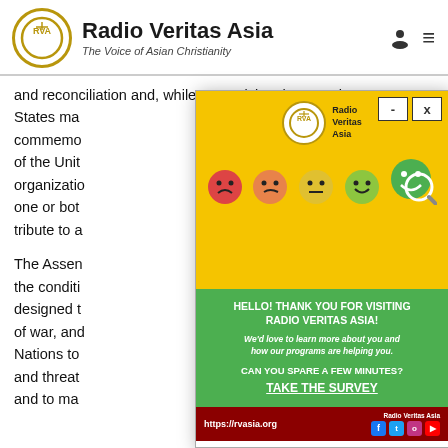Radio Veritas Asia — The Voice of Asian Christianity
and reconciliation and, while recognizing that Member States ma… commemdo… of the Unit… organizatio… one or bot… tribute to a…
[Figure (screenshot): Pop-up modal from Radio Veritas Asia website showing a survey invitation. Yellow top section with RVA logo and emoji faces (from sad red to happy green). Green middle section with text: HELLO! THANK YOU FOR VISITING RADIO VERITAS ASIA! WE'D LOVE TO LEARN MORE ABOUT YOU AND HOW OUR PROGRAMS ARE HELPING YOU. CAN YOU SPARE A FEW MINUTES? TAKE THE SURVEY. Dark red footer with https://rvasia.org and Radio Veritas Asia social media icons (Facebook, Twitter, Instagram, YouTube). Modal has minimize and close buttons.]
The Assen… the conditi… designed t… of war, and… Nations to… and threat… and to ma…